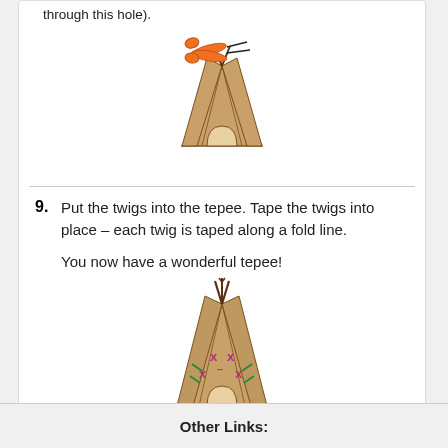through this hole).
[Figure (illustration): A tan/brown paper tepee shape with an arched door opening at the bottom and scissors cutting at the top tip.]
9. Put the twigs into the tepee. Tape the twigs into place – each twig is taped along a fold line.

You now have a wonderful tepee!
[Figure (illustration): A completed decorated tepee with twig poles sticking out the top, and colorful X and dash decorations in pink, purple, and green on the tan body.]
Other Links: